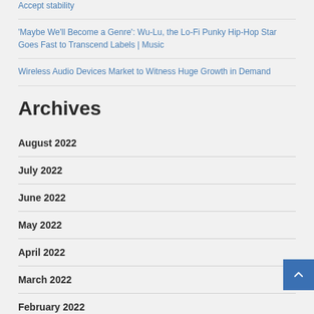Accept stability
'Maybe We'll Become a Genre': Wu-Lu, the Lo-Fi Punky Hip-Hop Star Goes Fast to Transcend Labels | Music
Wireless Audio Devices Market to Witness Huge Growth in Demand
Archives
August 2022
July 2022
June 2022
May 2022
April 2022
March 2022
February 2022